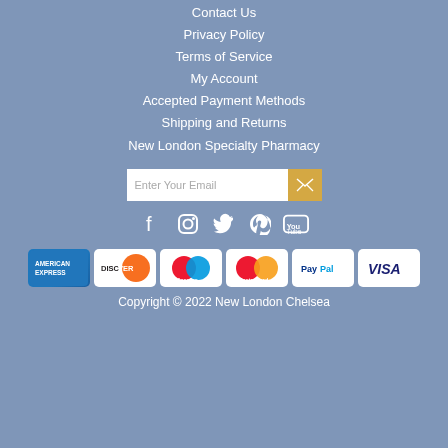Contact Us
Privacy Policy
Terms of Service
My Account
Accepted Payment Methods
Shipping and Returns
New London Specialty Pharmacy
[Figure (infographic): Email newsletter subscription input box with 'Enter Your Email' placeholder and a gold envelope icon button]
[Figure (infographic): Social media icons: Facebook, Instagram, Twitter, Pinterest, YouTube]
[Figure (infographic): Payment method logos: American Express, Discover, Maestro, MasterCard, PayPal, Visa]
Copyright © 2022 New London Chelsea